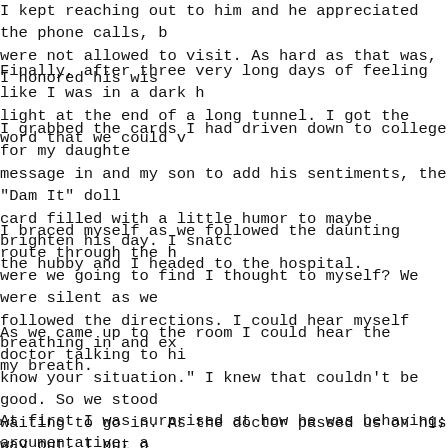I kept reaching out to him and he appreciated the phone calls, but we were not allowed to visit. As hard as that was, I honored his wis
Finally, after three very long days of feeling like I was in a dark hole, there was light at the end of a long tunnel. I got the word that we could v
I grabbed the cards I had driven down to college for my daughter to write a message in and my son to add his sentiments, the "Dam It" doll and the card filled with a little humor to maybe brighten his day. I snatched them up, the hubby and I headed to the hospital.
I braced myself as we followed the daunting route through the hospital. What were we going to find I thought to myself? We were silent as we slowly followed the directions. I could hear myself breathing in and exhaling, holding my breath.
As we came up to the room I could hear the doctor talking to him "...you know your situation." I knew that couldn't be good. So we stood outside waiting to go in. As the doctor passed us on his way out, I put on my smile, took a deep breath and gave him a big Hello!
At first I was surprised at how he was behaving; argumentative, angry at the hospital, the doctors, the nurses and just plain ornery. It too